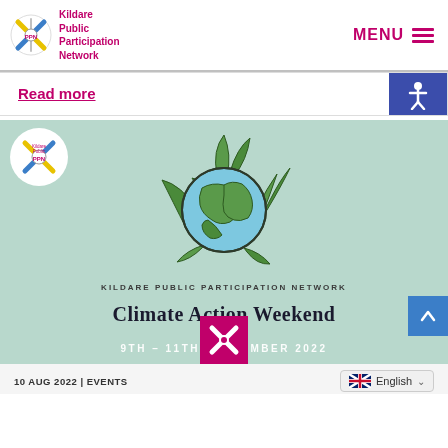Kildare Public Participation Network | MENU
Read more
[Figure (illustration): Kildare Public Participation Network event banner with globe and leaves illustration, title 'CLIMATE ACTION WEEKEND' and date '9TH - 11TH SEPTEMBER 2022']
10 AUG 2022 | EVENTS
English